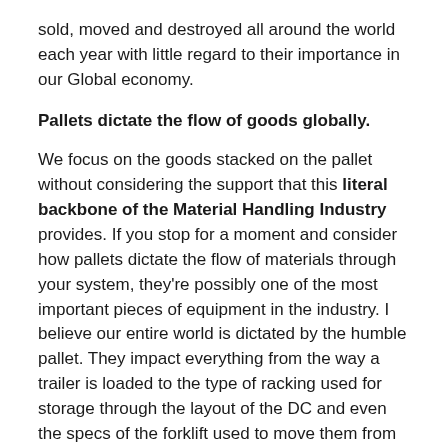sold, moved and destroyed all around the world each year with little regard to their importance in our Global economy.
Pallets dictate the flow of goods globally.
We focus on the goods stacked on the pallet without considering the support that this literal backbone of the Material Handling Industry provides. If you stop for a moment and consider how pallets dictate the flow of materials through your system, they're possibly one of the most important pieces of equipment in the industry. I believe our entire world is dictated by the humble pallet. They impact everything from the way a trailer is loaded to the type of racking used for storage through the layout of the DC and even the specs of the forklift used to move them from point A to point B in the giant chess game called Logistics.